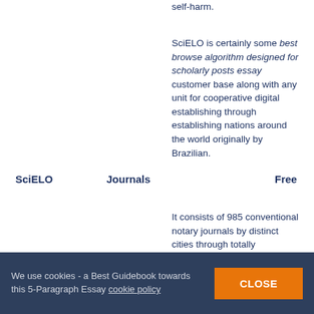self-harm.
SciELO is certainly some best browse algorithm designed for scholarly posts essay customer base along with any unit for cooperative digital establishing through establishing nations around the world originally by Brazilian.
SciELO
Journals
Free
It consists of 985 conventional notary journals by distinct cities through totally
We use cookies - a Best Guidebook towards this 5-Paragraph Essay cookie policy
CLOSE